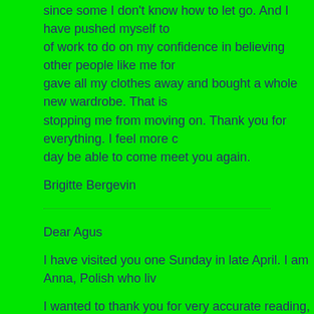since some I don't know how to let go. And I have pushed myself to of work to do on my confidence in believing other people like me for gave all my clothes away and bought a whole new wardrobe. That is stopping me from moving on. Thank you for everything. I feel more c day be able to come meet you again.
Brigitte Bergevin
Dear Agus
I have visited you one Sunday in late April. I am Anna, Polish who liv
I wanted to thank you for very accurate reading, your kindness and g
I am enclosing pictures which I have taken of you and your lovely fa
Kind regards and all best
Anna
Flemming Hasselriis
43 menit ·